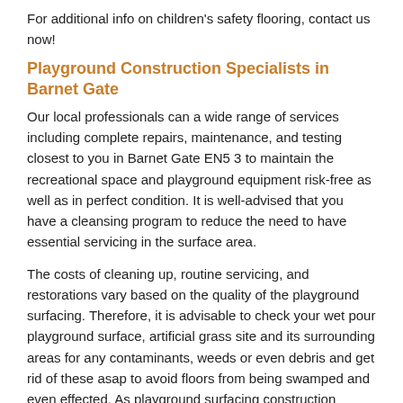For additional info on children's safety flooring, contact us now!
Playground Construction Specialists in Barnet Gate
Our local professionals can a wide range of services including complete repairs, maintenance, and testing closest to you in Barnet Gate EN5 3 to maintain the recreational space and playground equipment risk-free as well as in perfect condition. It is well-advised that you have a cleansing program to reduce the need to have essential servicing in the surface area.
The costs of cleaning up, routine servicing, and restorations vary based on the quality of the playground surfacing. Therefore, it is advisable to check your wet pour playground surface, artificial grass site and its surrounding areas for any contaminants, weeds or even debris and get rid of these asap to avoid floors from being swamped and even effected. As playground surfacing construction specialists, we aim to offer you the best services when installing the play flooring.
Playground Surface Maintenance Near Me
Sometimes providing the exterior with a light jet cleanse could well